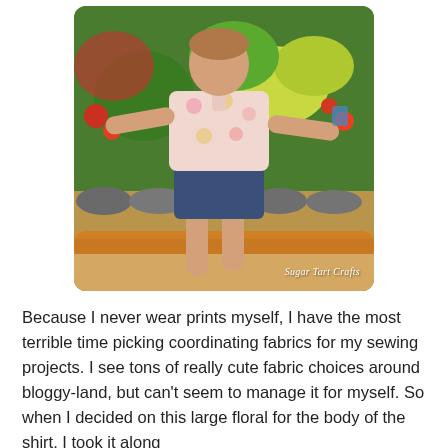[Figure (photo): A young child standing outdoors in a floral print shirt and dark denim shorts, arms outstretched, surrounded by lush green tropical foliage. The child is standing on a sandy/rocky surface with a log or beam visible. A watermark reads 'Sugar Tart Crafts' in the lower right corner.]
Because I never wear prints myself, I have the most terrible time picking coordinating fabrics for my sewing projects. I see tons of really cute fabric choices around bloggy-land, but can't seem to manage it for myself. So when I decided on this large floral for the body of the shirt, I took it along